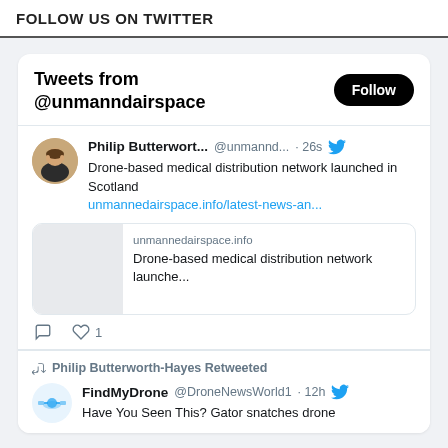FOLLOW US ON TWITTER
Tweets from @unmanndairspace
Philip Butterwort... @unmannd... · 26s
Drone-based medical distribution network launched in Scotland
unmannedairspace.info/latest-news-an...
unmannedairspace.info
Drone-based medical distribution network launche...
Philip Butterworth-Hayes Retweeted
FindMyDrone @DroneNewsWorld1 · 12h
Have You Seen This? Gator snatches drone